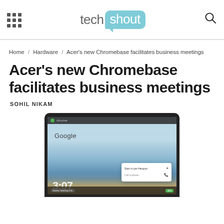techshout
Home / Hardware / Acer's new Chromebase facilitates business meetings
Acer's new Chromebase facilitates business meetings
SOHIL NIKAM
[Figure (photo): Acer Chromebase device showing Chrome OS interface with Google search screen and a video call dialog box]